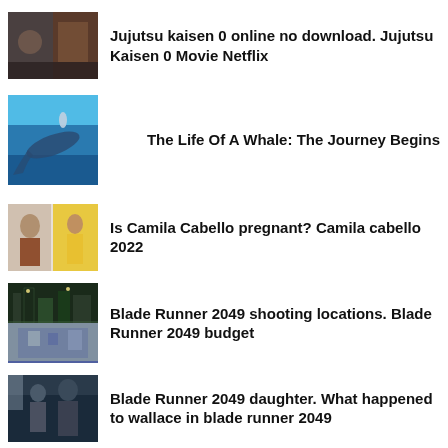Jujutsu kaisen 0 online no download. Jujutsu Kaisen 0 Movie Netflix
The Life Of A Whale: The Journey Begins
Is Camila Cabello pregnant? Camila cabello 2022
Blade Runner 2049 shooting locations. Blade Runner 2049 budget
Blade Runner 2049 daughter. What happened to wallace in blade runner 2049
The Flummels in Real Life